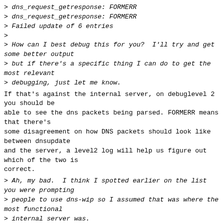> dns_request_getresponse: FORMERR
> dns_request_getresponse: FORMERR
> Failed update of 6 entries
>
> How can I best debug this for you?  I'll try and get some better output
> but if there's a specific thing I can do to get the most relevant
> debugging, just let me know.
If that's against the internal server, on debuglevel 2 you should be
able to see the dns packets being parsed. FORMERR means that there's
some disagreement on how DNS packets should look like between dnsupdate
and the server, a level2 log will help us figure out which of the two is
correct.
> Ah, my bad.  I think I spotted earlier on the list you were prompting
> people to use dns-wip so I assumed that was where the most functional
> internal server was.
That I do find a bit surprising, seeing how I'm the person working on
the internal DNS server. :) Amitay has been working on the dnsserver RPC
...